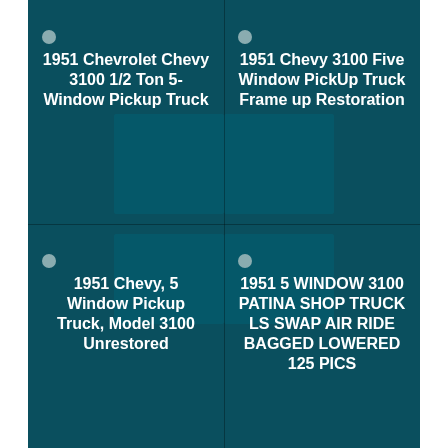1951 Chevrolet Chevy 3100 1/2 Ton 5-Window Pickup Truck
1951 Chevy 3100 Five Window PickUp Truck Frame up Restoration
1951 Chevy, 5 Window Pickup Truck, Model 3100 Unrestored
1951 5 WINDOW 3100 PATINA SHOP TRUCK LS SWAP AIR RIDE BAGGED LOWERED 125 PICS